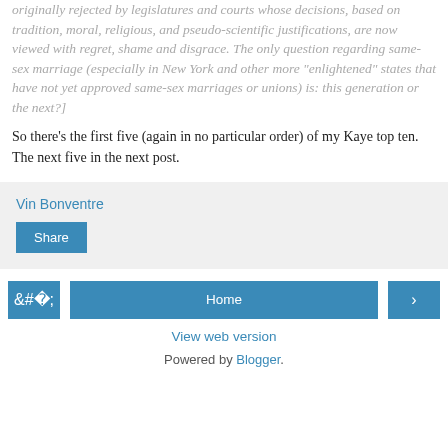originally rejected by legislatures and courts whose decisions, based on tradition, moral, religious, and pseudo-scientific justifications, are now viewed with regret, shame and disgrace. The only question regarding same-sex marriage (especially in New York and other more "enlightened" states that have not yet approved same-sex marriages or unions) is: this generation or the next?]
So there's the first five (again in no particular order) of my Kaye top ten. The next five in the next post.
Vin Bonventre
Share
Home
View web version
Powered by Blogger.